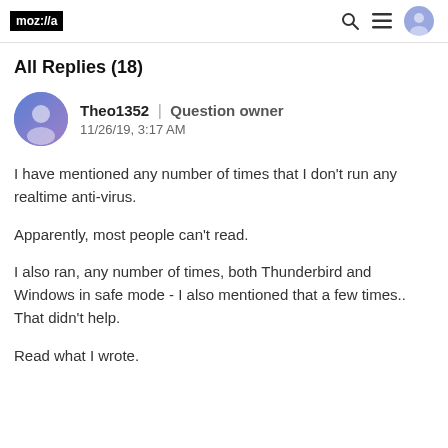moz://a
All Replies (18)
Theo1352 | Question owner
11/26/19, 3:17 AM
I have mentioned any number of times that I don't run any realtime anti-virus.
Apparently, most people can't read.
I also ran, any number of times, both Thunderbird and Windows in safe mode - I also mentioned that a few times.. That didn't help.
Read what I wrote.